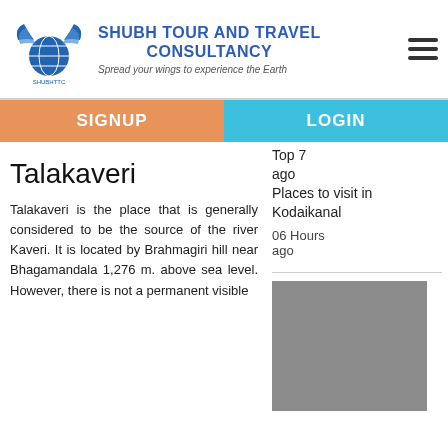SHUBH TOUR AND TRAVEL CONSULTANCY
Spread your wings to experience the Earth
SIGNUP
LOGIN
Top 7 ago Places to visit in Kodaikanal
06 Hours ago
[Figure (photo): Gray placeholder image in sidebar]
Talakaveri
Talakaveri is the place that is generally considered to be the source of the river Kaveri. It is located by Brahmagiri hill near Bhagamandala 1,276 m. above sea level. However, there is not a permanent visible